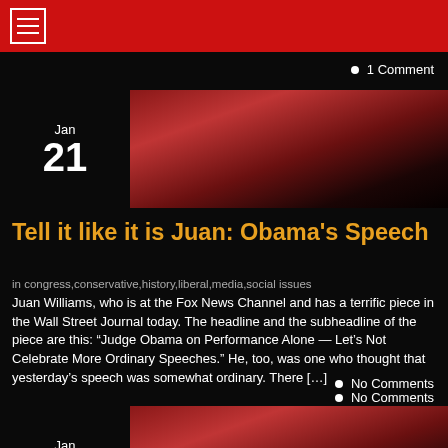1 Comment
[Figure (photo): Red and black gradient thumbnail image for Jan 21 post]
Tell it like it is Juan: Obama's Speech
in congress,conservative,history,liberal,media,social issues
Juan Williams, who is at the Fox News Channel and has a terrific piece in the Wall Street Journal today. The headline and the subheadline of the piece are this: "Judge Obama on Performance Alone — Let's Not Celebrate More Ordinary Speeches." He, too, was one who thought that yesterday's speech was somewhat ordinary. There […]
No Comments
[Figure (photo): Red and black gradient thumbnail image for Jan 20 post]
Barack Hussein Obama : Pre-Inauguration
in history,liberal,media,presidency,social issues